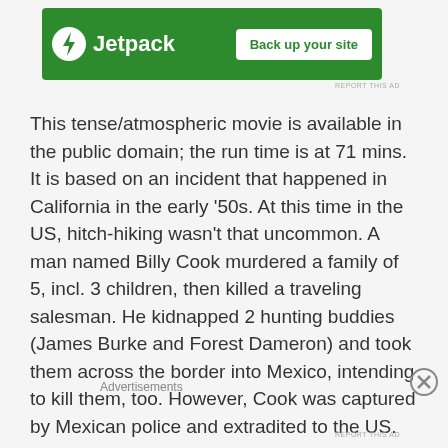[Figure (other): Jetpack advertisement banner with green background, Jetpack logo with lightning bolt icon, and white 'Back up your site' button]
REPORT THIS AD
This tense/atmospheric movie is available in the public domain; the run time is at 71 mins. It is based on an incident that happened in California in the early '50s. At this time in the US, hitch-hiking wasn't that uncommon. A man named Billy Cook murdered a family of 5, incl. 3 children, then killed a traveling salesman. He kidnapped 2 hunting buddies (James Burke and Forest Dameron) and took them across the border into Mexico, intending to kill them, too. However, Cook was captured by Mexican police and extradited to the US. Lupino somehow met Dameron
Advertisements
REPORT THIS AD